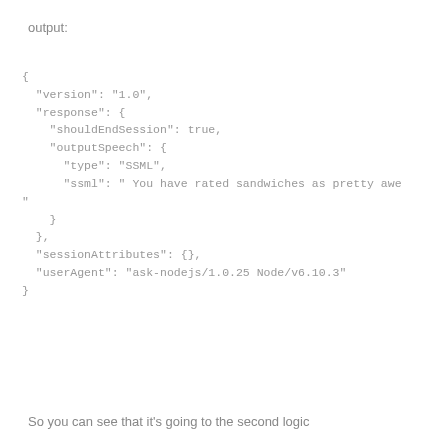output:
{
  "version": "1.0",
  "response": {
    "shouldEndSession": true,
    "outputSpeech": {
      "type": "SSML",
      "ssml": " You have rated sandwiches as pretty awe
"
    }
  },
  "sessionAttributes": {},
  "userAgent": "ask-nodejs/1.0.25 Node/v6.10.3"
}
So you can see that it's going to the second logic